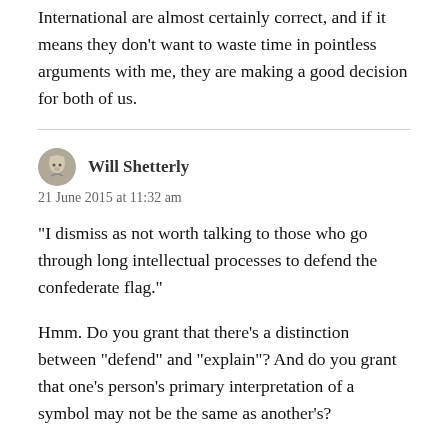International are almost certainly correct, and if it means they don't want to waste time in pointless arguments with me, they are making a good decision for both of us.
Will Shetterly
21 June 2015 at 11:32 am
“I dismiss as not worth talking to those who go through long intellectual processes to defend the confederate flag.”
Hmm. Do you grant that there’s a distinction between “defend” and “explain”? And do you grant that one’s person’s primary interpretation of a symbol may not be the same as another’s?
While I don’t admire the artistry, I do admire the intent of Brad Paisley’s and LL Cool J’s “Accidental